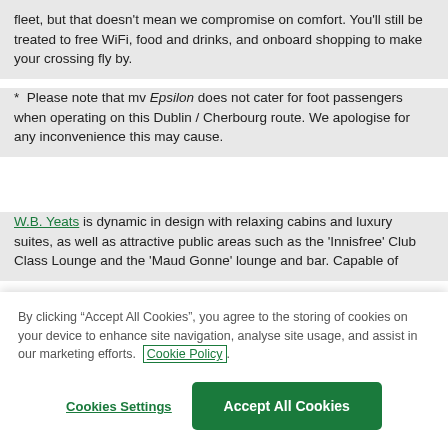fleet, but that doesn't mean we compromise on comfort. You'll still be treated to free WiFi, food and drinks, and onboard shopping to make your crossing fly by.
*  Please note that mv Epsilon does not cater for foot passengers when operating on this Dublin / Cherbourg route. We apologise for any inconvenience this may cause.
W.B. Yeats is dynamic in design with relaxing cabins and luxury suites, as well as attractive public areas such as the 'Innisfree' Club Class Lounge and the 'Maud Gonne' lounge and bar. Capable of
By clicking “Accept All Cookies”, you agree to the storing of cookies on your device to enhance site navigation, analyse site usage, and assist in our marketing efforts. Cookie Policy.
Cookies Settings
Accept All Cookies